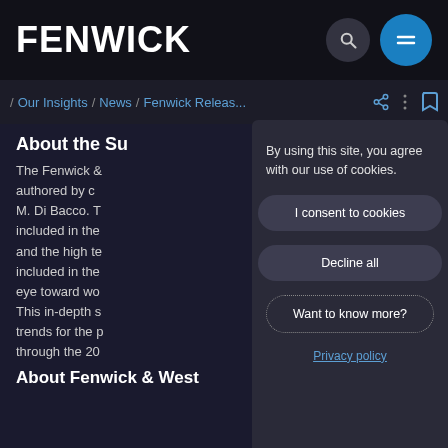FENWICK
/ Our Insights / News / Fenwick Releas...
About the Su
The Fenwick & authored by c M. Di Bacco. T included in the and the high te included in the eye toward wo This in-depth s trends for the p through the 20
By using this site, you agree with our use of cookies.
I consent to cookies
Decline all
Want to know more?
Privacy policy
About Fenwick & West